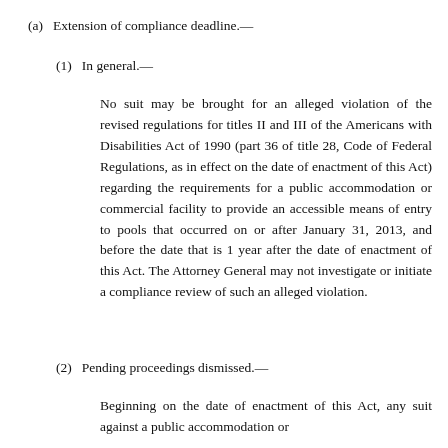(a)  Extension of compliance deadline.—
(1)  In general.—
No suit may be brought for an alleged violation of the revised regulations for titles II and III of the Americans with Disabilities Act of 1990 (part 36 of title 28, Code of Federal Regulations, as in effect on the date of enactment of this Act) regarding the requirements for a public accommodation or commercial facility to provide an accessible means of entry to pools that occurred on or after January 31, 2013, and before the date that is 1 year after the date of enactment of this Act. The Attorney General may not investigate or initiate a compliance review of such an alleged violation.
(2)  Pending proceedings dismissed.—
Beginning on the date of enactment of this Act, any suit against a public accommodation or commercial facility for a violation where the…